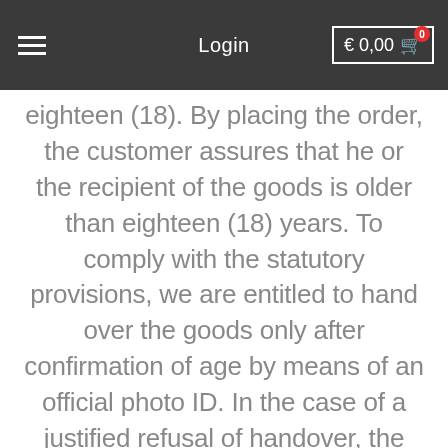Login  € 0,00  0
eighteen (18). By placing the order, the customer assures that he or the recipient of the goods is older than eighteen (18) years. To comply with the statutory provisions, we are entitled to hand over the goods only after confirmation of age by means of an official photo ID. In the case of a justified refusal of handover, the customer is obliged to compensate for any cost/damage actually incurred.